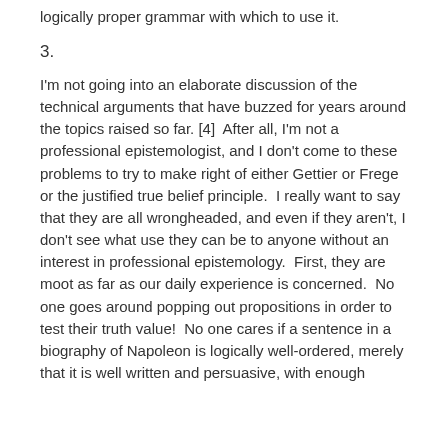logically proper grammar with which to use it.
3.
I'm not going into an elaborate discussion of the technical arguments that have buzzed for years around the topics raised so far. [4]  After all, I'm not a professional epistemologist, and I don't come to these problems to try to make right of either Gettier or Frege or the justified true belief principle.  I really want to say that they are all wrongheaded, and even if they aren't, I don't see what use they can be to anyone without an interest in professional epistemology.  First, they are moot as far as our daily experience is concerned.  No one goes around popping out propositions in order to test their truth value!  No one cares if a sentence in a biography of Napoleon is logically well-ordered, merely that it is well written and persuasive, with enough